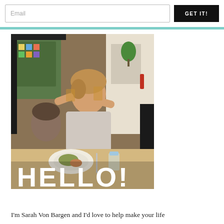Email
GET IT!
[Figure (photo): A woman laughing and clinking glasses at a restaurant table, with text 'HELLO!' overlaid at the bottom in large white bold letters.]
I'm Sarah Von Bargen and I'd love to help make your life